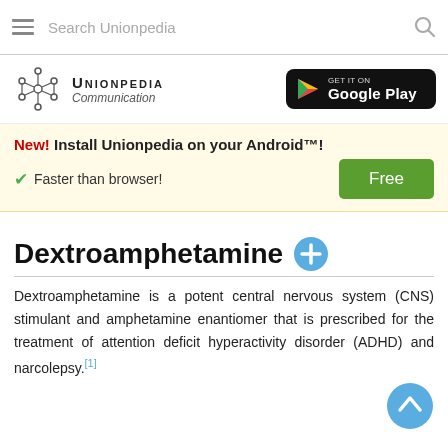Search Unionpedia
[Figure (logo): Unionpedia logo with network graph icon and text 'Unionpedia Communication']
[Figure (logo): Get it on Google Play badge]
New! Install Unionpedia on your Android™! ✓ Faster than browser! Free
Dextroamphetamine
Dextroamphetamine is a potent central nervous system (CNS) stimulant and amphetamine enantiomer that is prescribed for the treatment of attention deficit hyperactivity disorder (ADHD) and narcolepsy.[1]